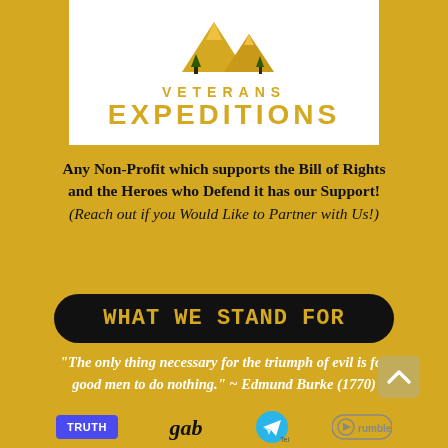[Figure (logo): Veterans Expeditions logo: golden mountain peaks above text 'VETERANS EXPEDITIONS' in gold on white background]
Any Non-Profit which supports the Bill of Rights and the Heroes who Defend it has our Support! (Reach out if you Would Like to Partner with Us!)
WHAT WE STAND FOR
"The only thing necessary for the triumph of evil is for good men to do nothing." ~ Edmund Burke (1770)
[Figure (logo): Social media logos: Truth Social, Gab, Telegram, Rumble]